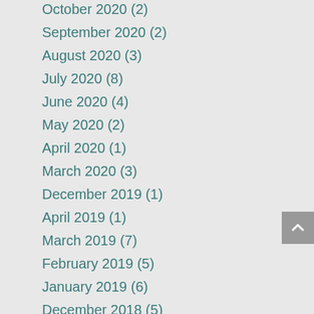October 2020 (2)
September 2020 (2)
August 2020 (3)
July 2020 (8)
June 2020 (4)
May 2020 (2)
April 2020 (1)
March 2020 (3)
December 2019 (1)
April 2019 (1)
March 2019 (7)
February 2019 (5)
January 2019 (6)
December 2018 (5)
November 2018 (6)